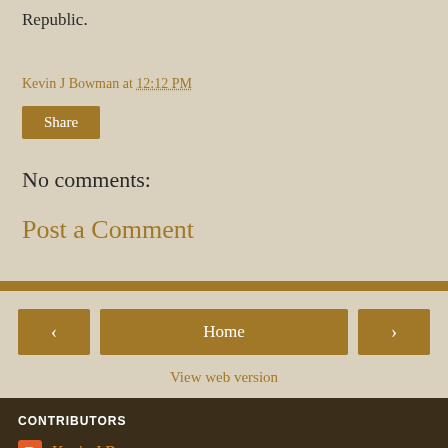Republic.
Kevin J Bowman at 12:12 PM
Share
No comments:
Post a Comment
Home
View web version
CONTRIBUTORS
Kevin J Bowman
Kevin J Bowman
Powered by Blogger